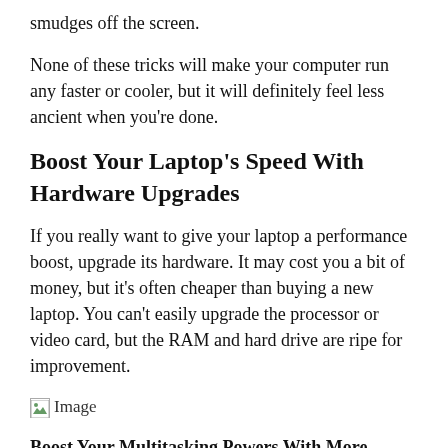smudges off the screen.
None of these tricks will make your computer run any faster or cooler, but it will definitely feel less ancient when you're done.
Boost Your Laptop's Speed With Hardware Upgrades
If you really want to give your laptop a performance boost, upgrade its hardware. It may cost you a bit of money, but it's often cheaper than buying a new laptop. You can't easily upgrade the processor or video card, but the RAM and hard drive are ripe for improvement.
[Figure (photo): Broken image placeholder labeled 'Image']
Boost Your Multitasking Powers With More RAM: Adding more RAM to your laptop can improve multitasking, often allowing your laptop to better keep up with the latest software. RAM manufacturer Crucial has a great online tool that helps you find the right kind of RAM for your specific